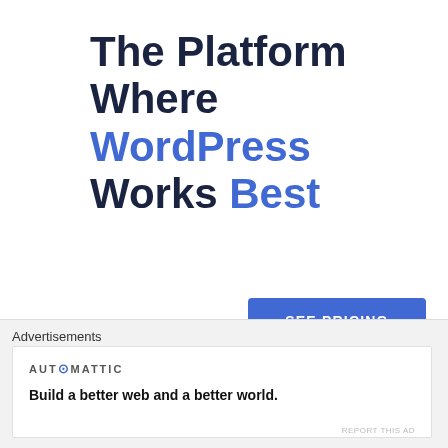The Platform Where WordPress Works Best
SEE PRICING
REPORT THIS AD
[Figure (logo): BMG logo with large dark green letters B, M, G on a cream/olive background band, with a circular ellipse arc on the left side]
Advertisements
AUTOMATTIC
Build a better web and a better world.
REPORT THIS AD